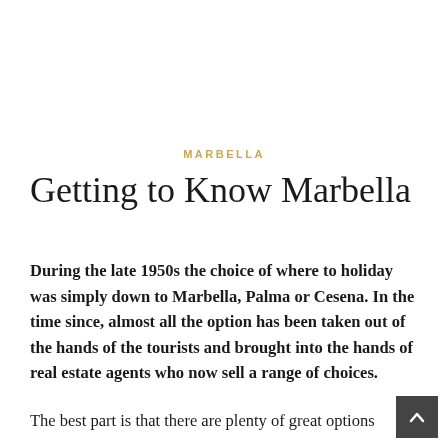MARBELLA
Getting to Know Marbella
During the late 1950s the choice of where to holiday was simply down to Marbella, Palma or Cesena. In the time since, almost all the option has been taken out of the hands of the tourists and brought into the hands of real estate agents who now sell a range of choices.
The best part is that there are plenty of great options